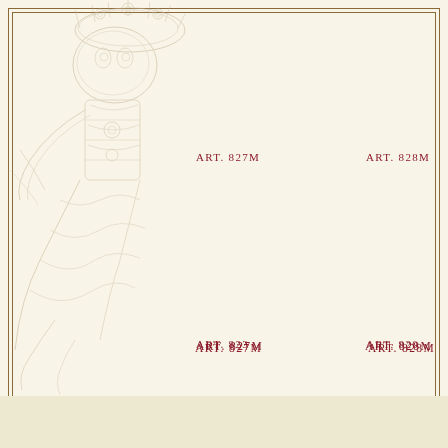[Figure (illustration): Faded watermark illustration of an ornate decorative figure or statue with detailed engraving style, positioned in upper-left area of the page]
ART. 827M
ART. 828M
ART. 823
ART. 820